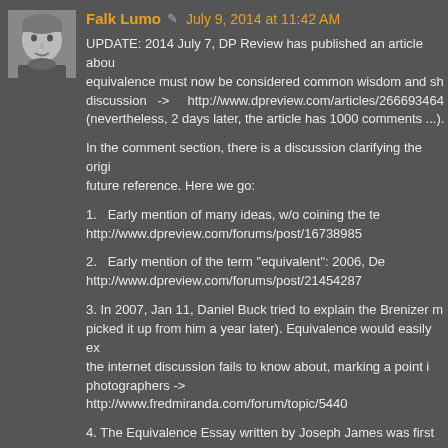Falk Lumo  July 9, 2014 at 11:42 AM
UPDATE: 2014 July 7, DP Review has published an article about equivalence must now be considered common wisdom and should end discussion -> http://www.dpreview.com/articles/2666934645 (nevertheless, 2 days later, the article has 1000 comments ...).
In the comment section, there is a discussion clarifying the original future reference. Here we go:
1.  Early mention of many ideas, w/o coining the term: http://www.dpreview.com/forums/post/16738985
2.  Early mention of the term "equivalent": 2006, De... http://www.dpreview.com/forums/post/21454287
3.  In 2007, Jan 11, Daniel Buck tried to explain the Brenizer method picked it up from him a year later). Equivalence would easily ex... the internet discussion fails to know about, marking a point in photographers -> http://www.fredmiranda.com/forum/topic/5440...
4.  The Equivalence Essay written by Joseph James was first pub... -> http://www.dpreview.com/forums/post/24394461 -> http://www.josephjamesphotography.com/equivalence/index.h... Therefore, this may indeed serve as root publication coin...